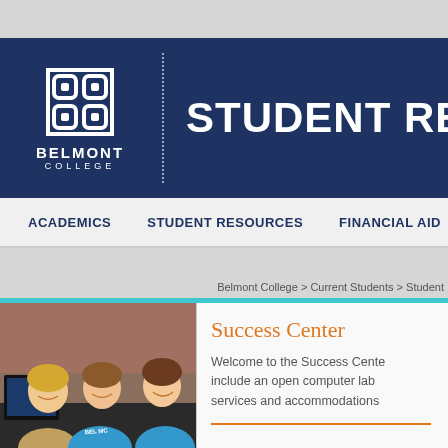[Figure (logo): Belmont College logo with geometric grid icon and text BELMONT COLLEGE on navy background with dotted divider]
STUDENT RESO
ACADEMICS   STUDENT RESOURCES   FINANCIAL AID
Belmont College > Current Students > Student
Success Center
Welcome to the Success Cente... include an open computer lab... services and accommodations...
[Figure (photo): Three female students smiling and looking at a computer screen in a computer lab setting]